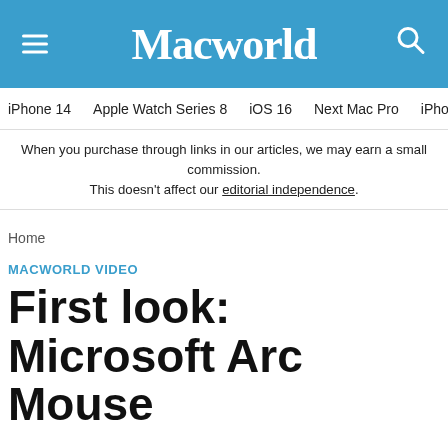Macworld
iPhone 14  Apple Watch Series 8  iOS 16  Next Mac Pro  iPhone d
When you purchase through links in our articles, we may earn a small commission. This doesn't affect our editorial independence.
Home
MACWORLD VIDEO
First look: Microsoft Arc Mouse
MACWORLD VIDEO
By Jackie Dove, Macworld  |  NOV 27, 2008 10:00 PM PST